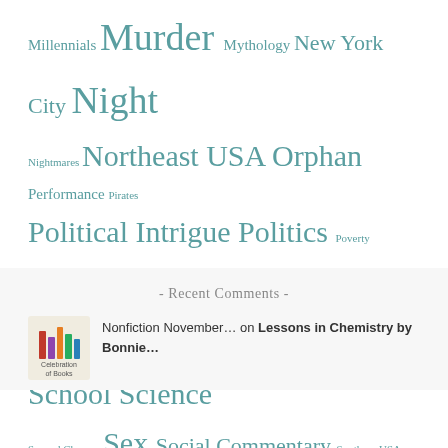Millennials Murder Mythology New York City Night Nightmares Northeast USA Orphan Performance Pirates Political Intrigue Politics Poverty Power Religion Research Revenge Roommates Royalty School Science Second Chances Sex Social Commentary Southern USA Star-Crossed Lovers Survival Technology Travel War Wealth World War II Writing
- Recent Comments -
[Figure (logo): Celebration of Books logo with colorful book spines illustration and text label]
Nonfiction November… on Lessons in Chemistry by Bonnie…